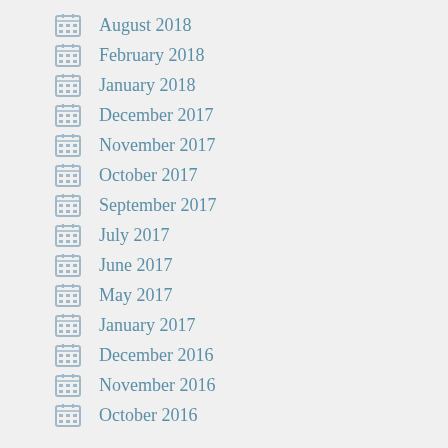August 2018
February 2018
January 2018
December 2017
November 2017
October 2017
September 2017
July 2017
June 2017
May 2017
January 2017
December 2016
November 2016
October 2016